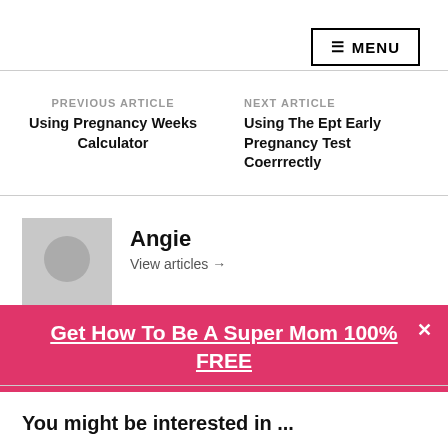≡ MENU
PREVIOUS ARTICLE
Using Pregnancy Weeks Calculator
NEXT ARTICLE
Using The Ept Early Pregnancy Test Coerrrectly
[Figure (illustration): Grey placeholder avatar with circle representing a person silhouette]
Angie
View articles →
Get How To Be A Super Mom 100% FREE
You might be interested in ...